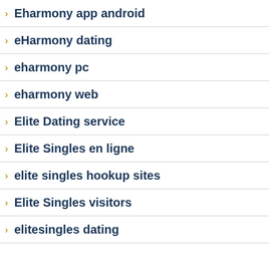Eharmony app android
eHarmony dating
eharmony pc
eharmony web
Elite Dating service
Elite Singles en ligne
elite singles hookup sites
Elite Singles visitors
elitesingles dating